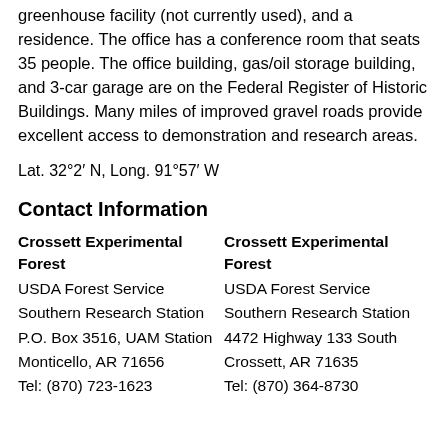greenhouse facility (not currently used), and a residence. The office has a conference room that seats 35 people. The office building, gas/oil storage building, and 3-car garage are on the Federal Register of Historic Buildings. Many miles of improved gravel roads provide excellent access to demonstration and research areas.
Lat. 32°2′ N, Long. 91°57′ W
Contact Information
Crossett Experimental Forest
USDA Forest Service
Southern Research Station
P.O. Box 3516, UAM Station
Monticello, AR 71656
Tel: (870) 723-1623
Crossett Experimental Forest
USDA Forest Service
Southern Research Station
4472 Highway 133 South
Crossett, AR 71635
Tel: (870) 364-8730